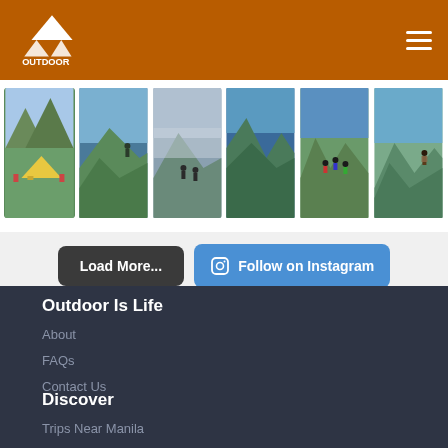Outdoor Is Life - navigation header
[Figure (photo): Grid of 6 outdoor/hiking photos showing mountains, camping tents, and hikers in various Philippine landscapes]
Load More...
Follow on Instagram
Outdoor Is Life
About
FAQs
Contact Us
Discover
Trips Near Manila
Trips In Visayas
Trips In Mindanao
Contact